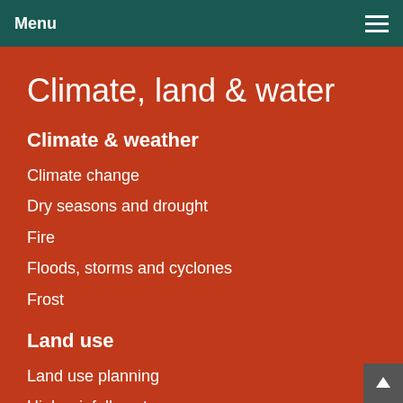Menu
Climate, land & water
Climate & weather
Climate change
Dry seasons and drought
Fire
Floods, storms and cyclones
Frost
Land use
Land use planning
High rainfall pastures
Rangelands